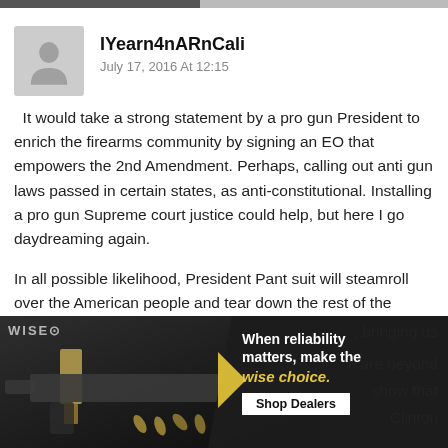IYearn4nARnCali
July 17, 2016 At 12:15

It would take a strong statement by a pro gun President to enrich the firearms community by signing an EO that empowers the 2nd Amendment. Perhaps, calling out anti gun laws passed in certain states, as anti-constitutional. Installing a pro gun Supreme court justice could help, but here I go daydreaming again.

In all possible likelihood, President Pant suit will steamroll over the American people and tear down the rest of the shreds of the Constitution, bringing us ... e are beyond ... show that ... Clinton
[Figure (photo): Advertisement overlay: firearms/gun image on dark background with WISE logo. Text reads 'When reliability matters, make the wise choice.' with a 'Shop Dealers' button in gold/yellow and white colors.]